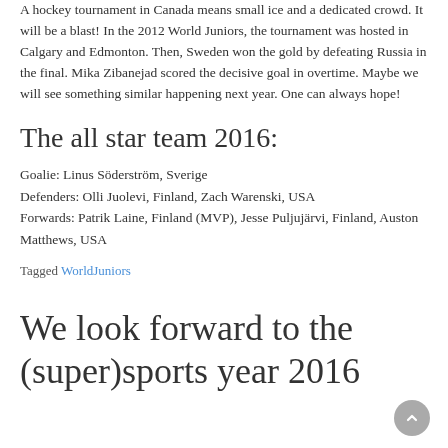A hockey tournament in Canada means small ice and a dedicated crowd. It will be a blast! In the 2012 World Juniors, the tournament was hosted in Calgary and Edmonton. Then, Sweden won the gold by defeating Russia in the final. Mika Zibanejad scored the decisive goal in overtime. Maybe we will see something similar happening next year. One can always hope!
The all star team 2016:
Goalie: Linus Söderström, Sverige
Defenders: Olli Juolevi, Finland, Zach Warenski, USA
Forwards: Patrik Laine, Finland (MVP), Jesse Puljujärvi, Finland, Auston Matthews, USA
Tagged WorldJuniors
We look forward to the (super)sports year 2016